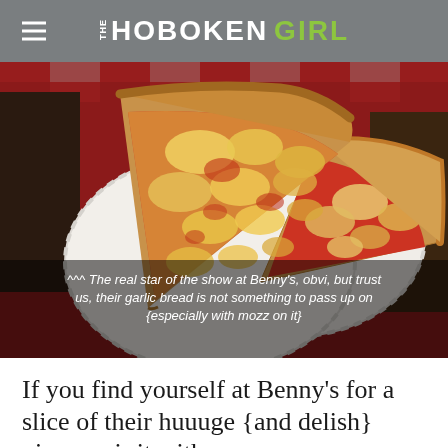THE HOBOKEN GIRL
[Figure (photo): Two large New York-style pizza slices on a paper plate, viewed from above. The slices have golden-brown crust with red tomato sauce and melted mozzarella cheese. The background shows a red checkered tablecloth and a pizzeria setting.]
^^^ The real star of the show at Benny's, obvi, but trust us, their garlic bread is not something to pass up on {especially with mozz on it}
If you find yourself at Benny's for a slice of their huuuge {and delish} pizza, pair it with